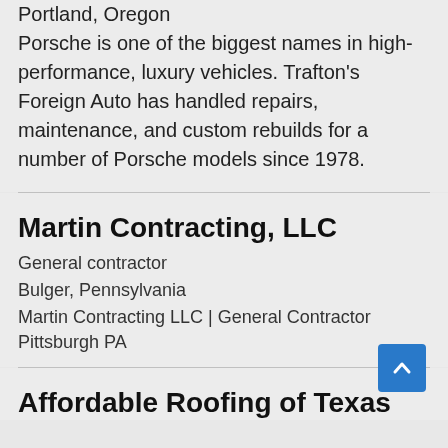Portland, Oregon
Porsche is one of the biggest names in high-performance, luxury vehicles. Trafton's Foreign Auto has handled repairs, maintenance, and custom rebuilds for a number of Porsche models since 1978.
Martin Contracting, LLC
General contractor
Bulger, Pennsylvania
Martin Contracting LLC | General Contractor Pittsburgh PA
Affordable Roofing of Texas